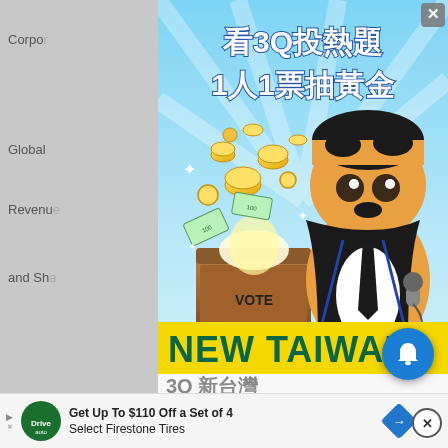Corpo... Global... Revenue... and Sh... Global... Channe... and Lautan... Global... Assess... Compa... Global... Assess...
[Figure (illustration): Popup advertisement for '3Q' New Taiwan voting campaign. Shows animated cartoon character in suit holding microphone next to a ballot box with coins/gold flying out. Text reads: 看3Q投熱題 1人1票抽黃金 NEW TAIWAN 3Q新台灣]
[Figure (infographic): Bottom advertisement banner: 'Get Up To $110 Off a Set of 4 Select Firestone Tires' with DriveTire Auto logo, arrow icon, and close button]